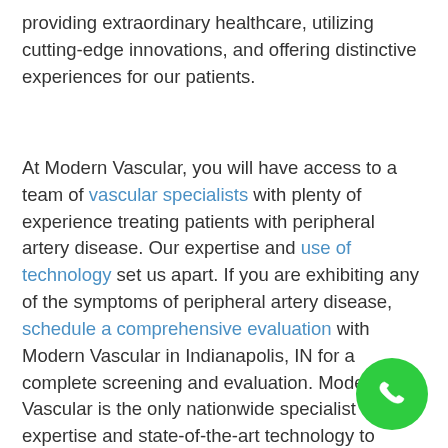providing extraordinary healthcare, utilizing cutting-edge innovations, and offering distinctive experiences for our patients.
At Modern Vascular, you will have access to a team of vascular specialists with plenty of experience treating patients with peripheral artery disease. Our expertise and use of technology set us apart. If you are exhibiting any of the symptoms of peripheral artery disease, schedule a comprehensive evaluation with Modern Vascular in Indianapolis, IN for a complete screening and evaluation. Modern Vascular is the only nationwide specialist with expertise and state-of-the-art technology to restore blood flow to PAD affected lower extremities, down to the toe.
[Figure (other): Green circular phone/call button in bottom right corner]